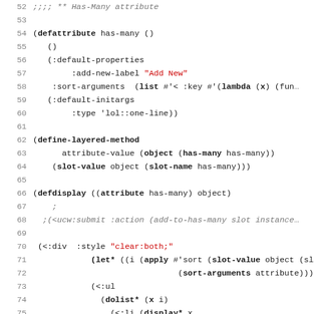[Figure (screenshot): Source code listing in Lisp/Common Lisp showing lines 52-83. Contains definitions for has-many attribute, define-layered-method, defdisplay, and defun find-many-to-many-class. Keywords are bold, string literals are red, comments are gray italic.]